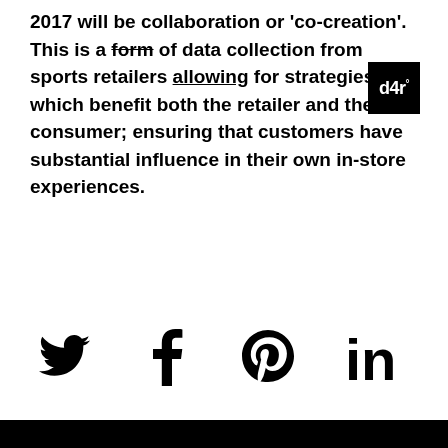2017 will be collaboration or 'co-creation'. This is a form of data collection from sports retailers allowing for strategies which benefit both the retailer and the consumer; ensuring that customers have substantial influence in their own in-store experiences.
[Figure (logo): Black square logo with white text reading 'd4r' with a superscript degree symbol]
[Figure (infographic): Social media share icons: Twitter bird, Facebook f, Pinterest P, LinkedIn in]